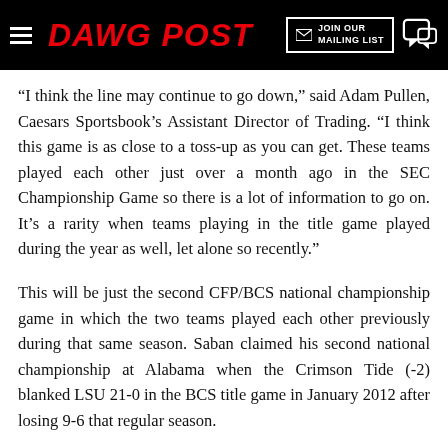DAWG POST
“I think the line may continue to go down,” said Adam Pullen, Caesars Sportsbook’s Assistant Director of Trading. “I think this game is as close to a toss-up as you can get. These teams played each other just over a month ago in the SEC Championship Game so there is a lot of information to go on. It’s a rarity when teams playing in the title game played during the year as well, let alone so recently.”
This will be just the second CFP/BCS national championship game in which the two teams played each other previously during that same season. Saban claimed his second national championship at Alabama when the Crimson Tide (-2) blanked LSU 21-0 in the BCS title game in January 2012 after losing 9-6 that regular season.
When Alabama and Georgia squared off on Dec. 4 in the